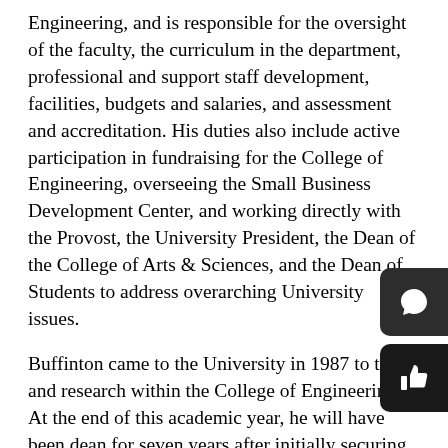Engineering, and is responsible for the oversight of the faculty, the curriculum in the department, professional and support staff development, facilities, budgets and salaries, and assessment and accreditation. His duties also include active participation in fundraising for the College of Engineering, overseeing the Small Business Development Center, and working directly with the Provost, the University President, the Dean of the College of Arts & Sciences, and the Dean of Students to address overarching University issues.
Buffinton came to the University in 1987 to teach and research within the College of Engineering. At the end of this academic year, he will have been dean for seven years after initially securing the position in 2009 as the interim Dean of Engineering.
“I have had a truly outstanding experience as dean, primarily because of the many people with whom I have